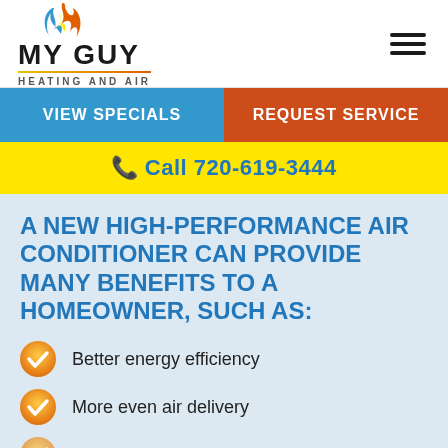[Figure (logo): My Guy Heating and Air logo with flame graphic]
VIEW SPECIALS
REQUEST SERVICE
Call 720-619-3444
A NEW HIGH-PERFORMANCE AIR CONDITIONER CAN PROVIDE MANY BENEFITS TO A HOMEOWNER, SUCH AS:
Better energy efficiency
More even air delivery